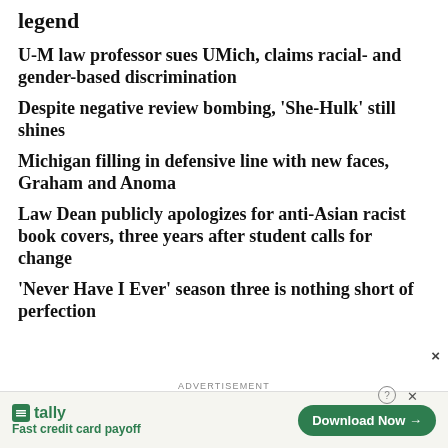legend
U-M law professor sues UMich, claims racial- and gender-based discrimination
Despite negative review bombing, 'She-Hulk' still shines
Michigan filling in defensive line with new faces, Graham and Anoma
Law Dean publicly apologizes for anti-Asian racist book covers, three years after student calls for change
'Never Have I Ever' season three is nothing short of perfection
ADVERTISEMENT
[Figure (screenshot): Tally app advertisement banner with 'Fast credit card payoff' tagline and 'Download Now' button]